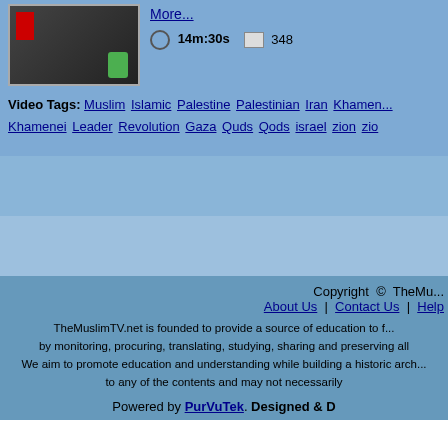[Figure (screenshot): Thumbnail of a video showing a podium with flags, and a phone icon overlay]
More...
14m:30s   348
Video Tags: Muslim Islamic Palestine Palestinian Iran Khamenei Khamenei Leader Revolution Gaza Quds Qods israel zion zio
Copyright © TheMu... About Us | Contact Us | Help TheMuslimTV.net is founded to provide a source of education to f... by monitoring, procuring, translating, studying, sharing and preserving all We aim to promote education and understanding while building a historic arch... to any of the contents and may not necessarily Powered by PurVuTek. Designed & D